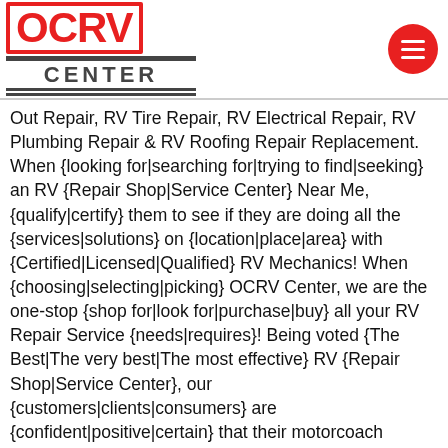[Figure (logo): OCRV Center logo with red outlined OCRV text and CENTER text on striped bar]
Out Repair, RV Tire Repair, RV Electrical Repair, RV Plumbing Repair & RV Roofing Repair Replacement. When {looking for|searching for|trying to find|seeking} an RV {Repair Shop|Service Center} Near Me, {qualify|certify} them to see if they are doing all the {services|solutions} on {location|place|area} with {Certified|Licensed|Qualified} RV Mechanics! When {choosing|selecting|picking} OCRV Center, we are the one-stop {shop for|look for|purchase|buy} all your RV Repair Service {needs|requires}! Being voted {The Best|The very best|The most effective} RV {Repair Shop|Service Center}, our {customers|clients|consumers} are {confident|positive|certain} that their motorcoach {will|will certainly} be {repaired|fixed} {and|as well as|and also} running {like new|fresh}! {Many|Numerous|Lots Of|Several} RV Repair Shops {will|will certainly} sub out {many of|a lot of|a number of|much of|most of} their RV